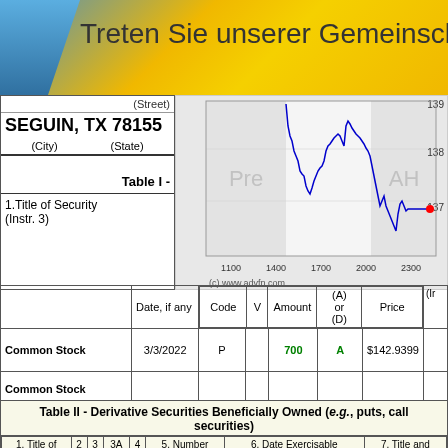Treten Sie unserer Gemeinschaft
(Street)
SEGUIN, TX 78155
(City)   (State)
Table I -
1.Title of Security
(Instr. 3)
[Figure (continuous-plot): Stock price chart showing intraday price movement between approximately 137 and 139, with Pre-market and After-Hours (AH) shaded regions. X-axis shows times 1100, 1400, 1700, 2000, 2300. Price line in blue with red endpoint dot. Source: (c) www.advfn.com]
|  | Date, if any | Code | V | Amount | (A) or (D) | Price | (In... |
| --- | --- | --- | --- | --- | --- | --- | --- |
| Common Stock | 3/3/2022 | P |  | 700 | A | $142.9399 |  |
| Common Stock |  |  |  |  |  |  |  |
Table II - Derivative Securities Beneficially Owned (e.g., puts, calls and other derivative securities)
| 1. Title of | 2 | 3 | 3A | 4 | 5. Number | 6. Date Exercisable | 7. Title and |
| --- | --- | --- | --- | --- | --- | --- | --- |